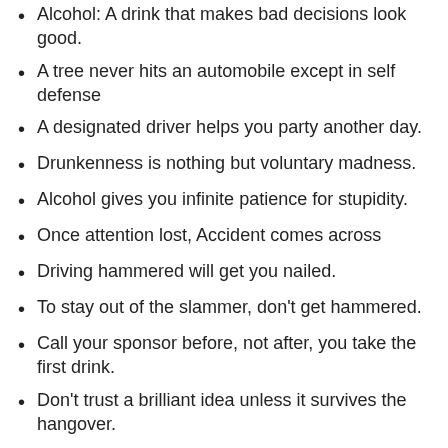Alcohol: A drink that makes bad decisions look good.
A tree never hits an automobile except in self defense
A designated driver helps you party another day.
Drunkenness is nothing but voluntary madness.
Alcohol gives you infinite patience for stupidity.
Once attention lost, Accident comes across
Driving hammered will get you nailed.
To stay out of the slammer, don't get hammered.
Call your sponsor before, not after, you take the first drink.
Don't trust a brilliant idea unless it survives the hangover.
Try not place conditions on your sobriety.